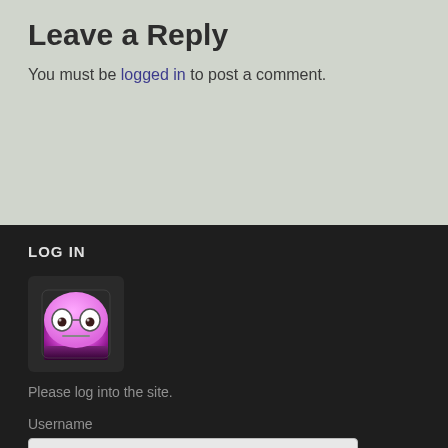Leave a Reply
You must be logged in to post a comment.
LOG IN
[Figure (illustration): Purple cartoon character avatar — a cylindrical blob with glasses and a flat expression, purple/pink gradient color with rounded top and dark bottom]
Please log into the site.
Username
Password